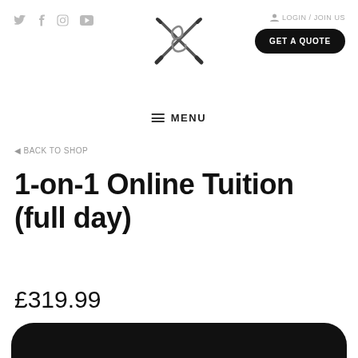Social icons: Twitter, Facebook, Instagram, YouTube | LOGIN / JOIN US | GET A QUOTE | Logo | MENU
◄ BACK TO SHOP
1-on-1 Online Tuition (full day)
£319.99